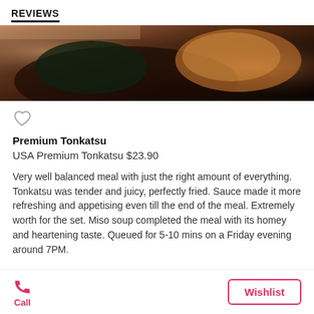REVIEWS
[Figure (photo): Food photo showing tonkatsu (fried pork cutlet) on a dark plate, partially visible at top of card]
Premium Tonkatsu
USA Premium Tonkatsu $23.90
Very well balanced meal with just the right amount of everything. Tonkatsu was tender and juicy, perfectly fried. Sauce made it more refreshing and appetising even till the end of the meal. Extremely worth for the set. Miso soup completed the meal with its homey and heartening taste. Queued for 5-10 mins on a Friday evening around 7PM.
1 Like
Call | Wishlist